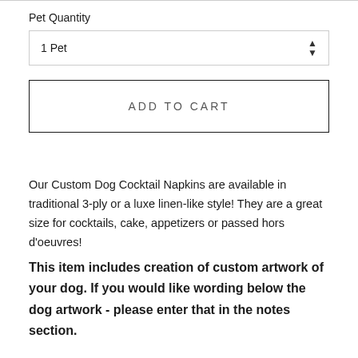Pet Quantity
[Figure (screenshot): Dropdown selector showing '1 Pet' with up/down arrows]
[Figure (screenshot): ADD TO CART button with border]
Our Custom Dog Cocktail Napkins are available in traditional 3-ply or a luxe linen-like style! They are a great size for cocktails, cake, appetizers or passed hors d'oeuvres!
This item includes creation of custom artwork of your dog. If you would like wording below the dog artwork - please enter that in the notes section.